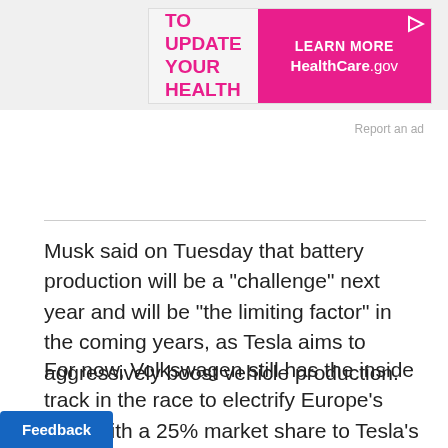[Figure (infographic): Advertisement banner for HealthCare.gov: 'NEED TO UPDATE YOUR HEALTH PLAN? LEARN MORE HealthCare.gov']
Report an ad
Musk said on Tuesday that battery production will be a "challenge" next year and will be "the limiting factor" in the coming years, as Tesla aims to aggressively boost vehicle production.
For now, Volkswagen still has the inside track in the race to electrify Europe's fleet, with a 25% market share to Tesla's 13%. Musk has said ramping up production would take longer than the two years it